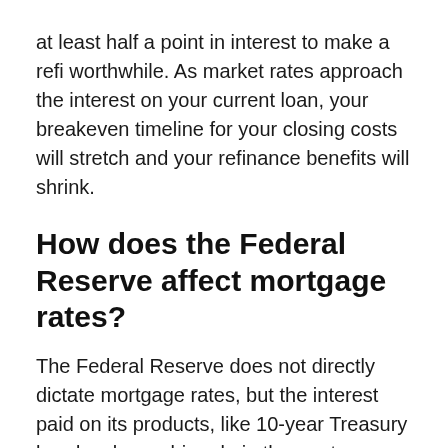at least half a point in interest to make a refi worthwhile. As market rates approach the interest on your current loan, your breakeven timeline for your closing costs will stretch and your refinance benefits will shrink.
How does the Federal Reserve affect mortgage rates?
The Federal Reserve does not directly dictate mortgage rates, but the interest paid on its products, like 10-year Treasury bonds, plays a big role in the mortgage market. Essentially, as interest rates on Treasurys rise, they lift the cost of borrowing money for banks and other financial institutions, and they pass those extra costs on